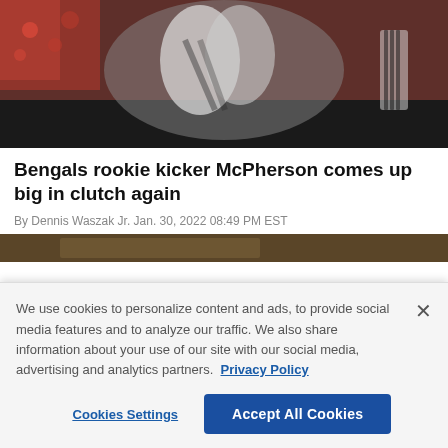[Figure (photo): Football players during an NFL game, one player wearing Cincinnati Bengals white uniform being tackled or blocked, with red-clad crowd in background and a referee visible]
Bengals rookie kicker McPherson comes up big in clutch again
By Dennis Waszak Jr. Jan. 30, 2022 08:49 PM EST
[Figure (photo): Partially visible second article image, appears to be a football field scene]
We use cookies to personalize content and ads, to provide social media features and to analyze our traffic. We also share information about your use of our site with our social media, advertising and analytics partners. Privacy Policy
Cookies Settings | Accept All Cookies